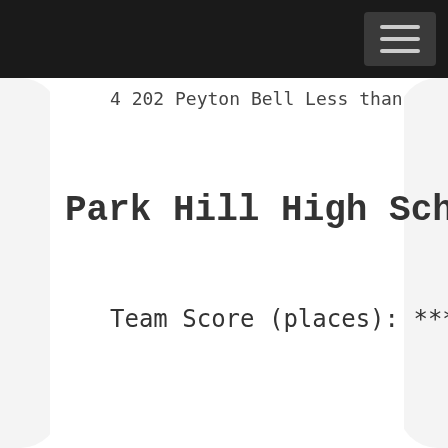4   202  Peyton Bell                                    Less than
Park Hill High School     Finish
Team Score (places): ***  Team Sco
Overall